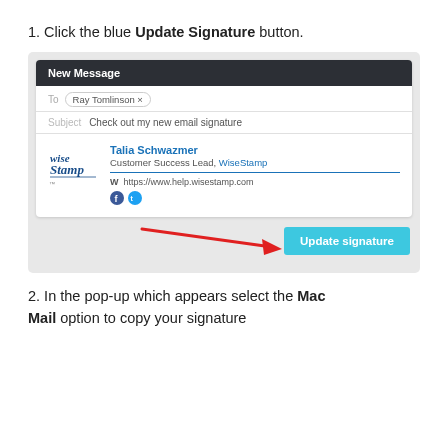1. Click the blue Update Signature button.
[Figure (screenshot): Screenshot of a Gmail compose window titled 'New Message' addressed to Ray Tomlinson with subject 'Check out my new email signature', showing a WiseStamp email signature for Talia Schwazmer, Customer Success Lead, with website and social icons, and a blue 'Update signature' button with a red arrow pointing to it.]
2. In the pop-up which appears select the Mac Mail option to copy your signature